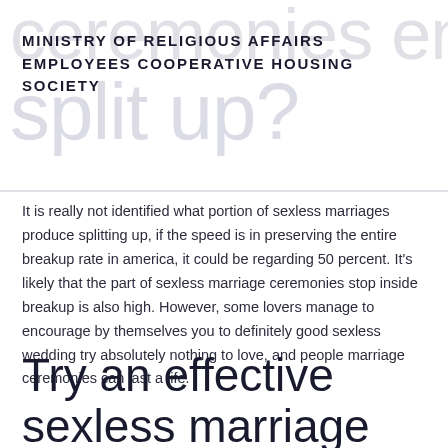MINISTRY OF RELIGIOUS AFFAIRS EMPLOYEES COOPERATIVE HOUSING SOCIETY
It is really not identified what portion of sexless marriages produce splitting up, if the speed is in preserving the entire breakup rate in america, it could be regarding 50 percent. It's likely that the part of sexless marriage ceremonies stop inside breakup is also high. However, some lovers manage to encourage by themselves you to definitely good sexless wedding try absolutely nothing to love, and people marriage ceremonies can last a life.
Try an effective sexless marriage